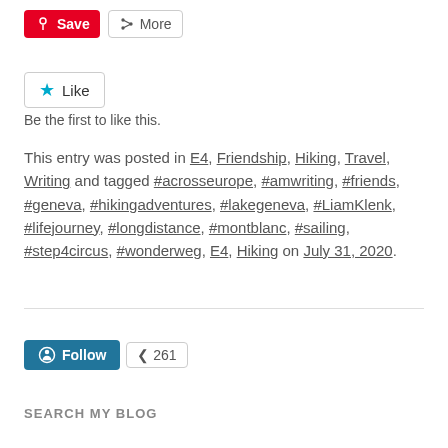Save | More (buttons)
Like — Be the first to like this.
This entry was posted in E4, Friendship, Hiking, Travel, Writing and tagged #acrosseurope, #amwriting, #friends, #geneva, #hikingadventures, #lakegeneva, #LiamKlenk, #lifejourney, #longdistance, #montblanc, #sailing, #step4circus, #wonderweg, E4, Hiking on July 31, 2020.
Follow 261
SEARCH MY BLOG